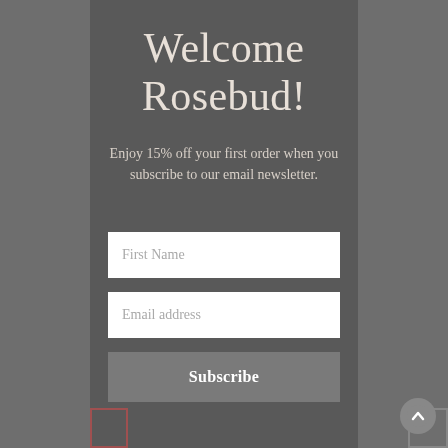Welcome Rosebud!
Enjoy 15% off your first order when you subscribe to our email newsletter.
First Name
Email address
Subscribe